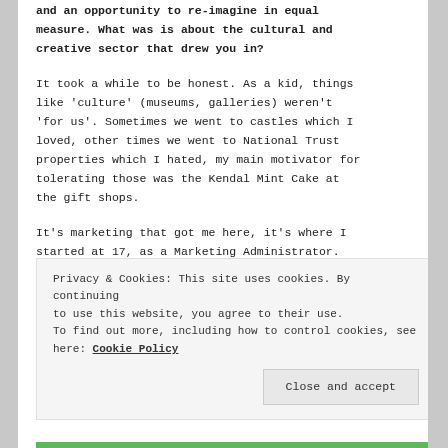and an opportunity to re-imagine in equal measure. What was is about the cultural and creative sector that drew you in?
It took a while to be honest. As a kid, things like 'culture' (museums, galleries) weren't 'for us'. Sometimes we went to castles which I loved, other times we went to National Trust properties which I hated, my main motivator for tolerating those was the Kendal Mint Cake at the gift shops.
It's marketing that got me here, it's where I started at 17, as a Marketing Administrator. And it's what I've done for the past 19 years.
Privacy & Cookies: This site uses cookies. By continuing to use this website, you agree to their use. To find out more, including how to control cookies, see here: Cookie Policy
Close and accept